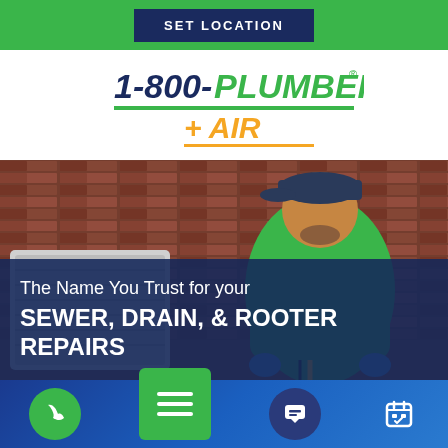SET LOCATION
[Figure (logo): 1-800-Plumber + Air logo with green and blue text and green underline]
[Figure (photo): A male technician in a green shirt and dark cap working near an HVAC unit against a brick wall background]
The Name You Trust for your SEWER, DRAIN, & ROOTER REPAIRS
[Figure (infographic): Bottom navigation bar with phone icon, hamburger menu button, chat icon, and calendar icon]